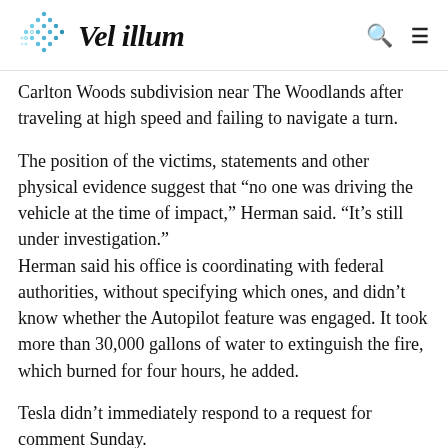Vel illum
Carlton Woods subdivision near The Woodlands after traveling at high speed and failing to navigate a turn.
The position of the victims, statements and other physical evidence suggest that “no one was driving the vehicle at the time of impact,” Herman said. “It’s still under investigation.”
Herman said his office is coordinating with federal authorities, without specifying which ones, and didn’t know whether the Autopilot feature was engaged. It took more than 30,000 gallons of water to extinguish the fire, which burned for four hours, he added.
Tesla didn’t immediately respond to a request for comment Sunday.
Federal officials have criticized Tesla for fire risks related to the battery packs in its cars and for not